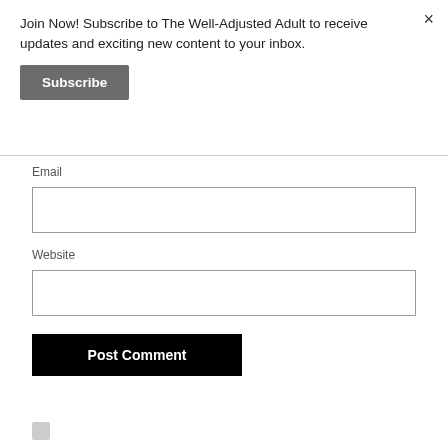×
Join Now! Subscribe to The Well-Adjusted Adult to receive updates and exciting new content to your inbox.
Subscribe
Email
Website
Post Comment